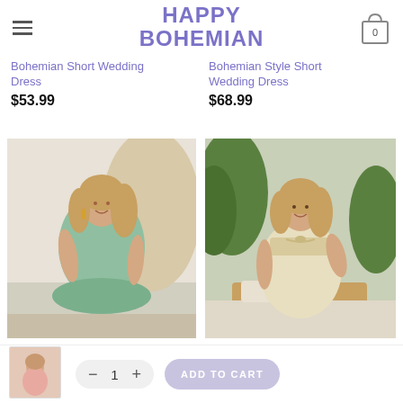HAPPY BOHEMIAN
Bohemian Short Wedding Dress
$53.99
Bohemian Style Short Wedding Dress
$68.99
[Figure (photo): Woman wearing a sage green ruffled V-neck bohemian short dress]
Hippie Bohemian Girl Dress
$47.99
[Figure (photo): Woman wearing a cream/beige floral ruffled square-neck short summer dress]
Little Bohemian Flowery Summer Dress
[Figure (photo): Thumbnail of a pink floral dress]
ADD TO CART